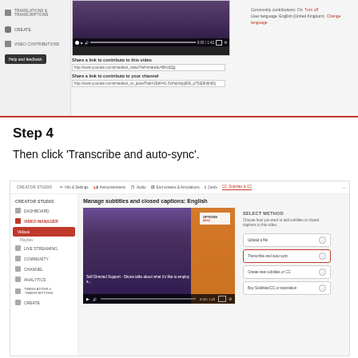[Figure (screenshot): YouTube Creator Studio screenshot showing share links for contributing to a video and channel, with community contributions turned on.]
Step 4
Then click 'Transcribe and auto-sync'.
[Figure (screenshot): YouTube Creator Studio screenshot showing 'Manage subtitles and closed captions: English' page with SELECT METHOD panel on the right. 'Transcribe and auto-sync' option is highlighted with a red border.]